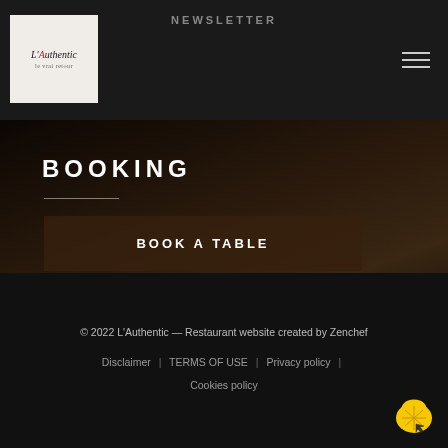NEWSLETTER
[Figure (logo): L'Authentic restaurant logo — white background with stylized text]
BOOKING
BOOK A TABLE
CLICK & COLLECT
© 2022 L'Authentic — Restaurant website created by Zenchef
Disclaimer | TERMS OF USE | Privacy policy | Cookies policy